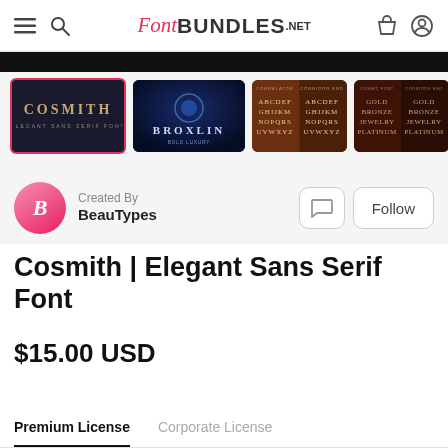FontBundles.NET
[Figure (screenshot): Thumbnail gallery showing font preview images for Cosmith and Broxlin fonts]
Created By
BeauTypes
Cosmith | Elegant Sans Serif Font
$15.00 USD
Premium License   Corporate License